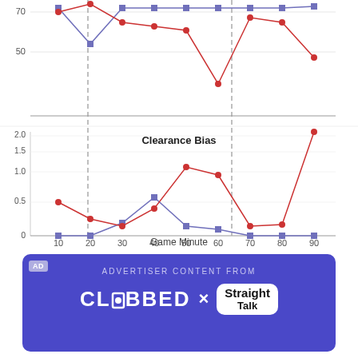[Figure (line-chart): Clearance Bias]
[Figure (infographic): Advertisement banner: AD badge, 'ADVERTISER CONTENT FROM', Clobbed x Straight Talk logos]